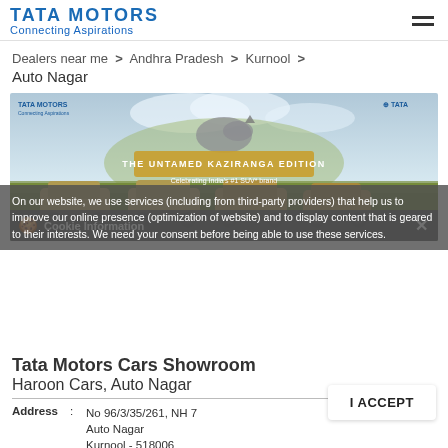TATA MOTORS Connecting Aspirations
Dealers near me > Andhra Pradesh > Kurnool > Auto Nagar
[Figure (photo): Tata Motors Kaziranga Edition advertisement banner showing SUVs in a wildlife savanna setting with a rhino, text: THE UNTAMED KAZIRANGA EDITION - Celebrating India's #1 SUV* brand]
Cookie Information
On our website, we use services (including from third-party providers) that help us to improve our online presence (optimization of website) and to display content that is geared to their interests. We need your consent before being able to use these services.
Tata Motors Cars Showroom
Haroon Cars, Auto Nagar
Address : No 96/3/35/261, NH 7
Auto Nagar
Kurnool - 518006